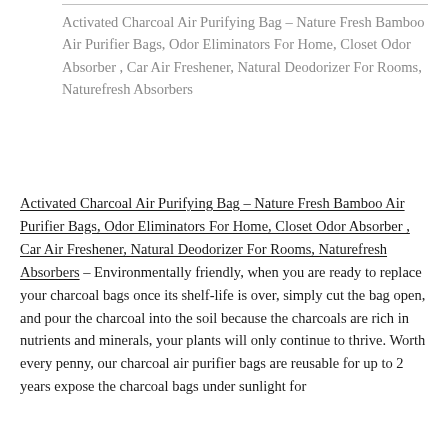Activated Charcoal Air Purifying Bag – Nature Fresh Bamboo Air Purifier Bags, Odor Eliminators For Home, Closet Odor Absorber , Car Air Freshener, Natural Deodorizer For Rooms, Naturefresh Absorbers
Activated Charcoal Air Purifying Bag – Nature Fresh Bamboo Air Purifier Bags, Odor Eliminators For Home, Closet Odor Absorber , Car Air Freshener, Natural Deodorizer For Rooms, Naturefresh Absorbers – Environmentally friendly, when you are ready to replace your charcoal bags once its shelf-life is over, simply cut the bag open, and pour the charcoal into the soil because the charcoals are rich in nutrients and minerals, your plants will only continue to thrive. Worth every penny, our charcoal air purifier bags are reusable for up to 2 years expose the charcoal bags under sunlight for